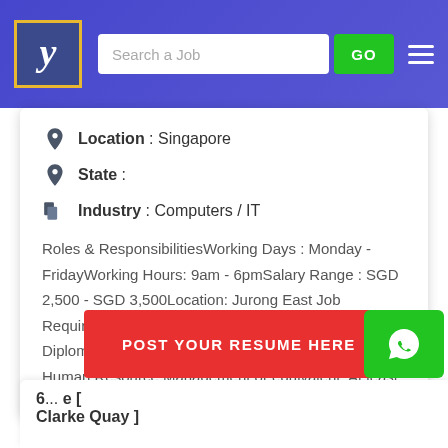[Figure (screenshot): Job portal header with logo, search bar and GO button]
Location : Singapore
State :
Industry : Computers / IT
Roles & ResponsibilitiesWorking Days : Monday - FridayWorking Hours: 9am - 6pmSalary Range : SGD 2,500 - SGD 3,500Location: Jurong East Job Requirements: Candidate must possess at least Diploma/Advanced/Higher/Graduate Diploma in Human Resource Management or equivalent. At least 3-4 years of working...
POST YOUR RESUME HERE
6... e [ Clarke Quay ]